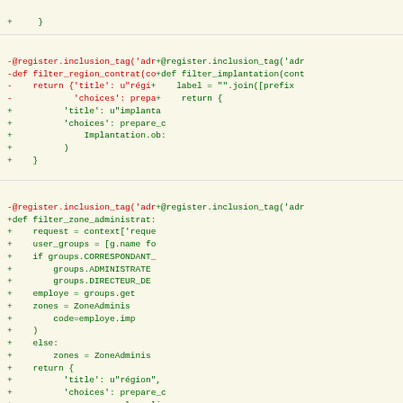diff code block showing removed and added lines for filter_region_contrat and filter_implantation functions, and filter_zone_administrative function
[Figure (screenshot): Code diff showing removed lines in red and added lines in green for Django template tag functions filter_region_contrat, filter_implantation, and filter_zone_administrative]